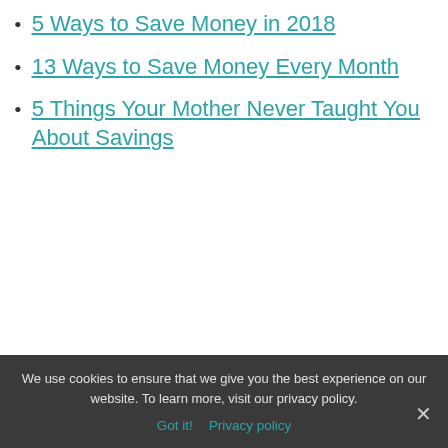5 Ways to Save Money in 2018
13 Ways to Save Money Every Month
5 Things Your Mother Never Taught You About Savings
5 ways you can save money
I am sure that each one of us has a different way of saving money. And
We use cookies to ensure that we give you the best experience on our website. To learn more, visit our privacy policy.
Got it!   Privacy policy